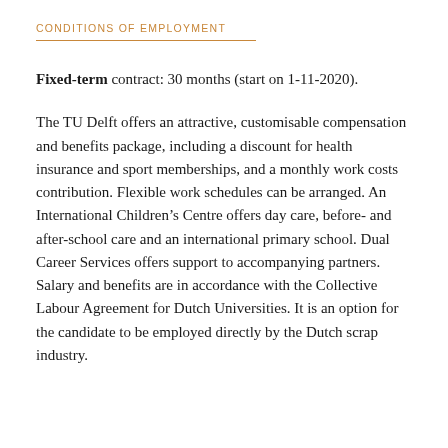CONDITIONS OF EMPLOYMENT
Fixed-term contract: 30 months (start on 1-11-2020).
The TU Delft offers an attractive, customisable compensation and benefits package, including a discount for health insurance and sport memberships, and a monthly work costs contribution. Flexible work schedules can be arranged. An International Children's Centre offers day care, before- and after-school care and an international primary school. Dual Career Services offers support to accompanying partners. Salary and benefits are in accordance with the Collective Labour Agreement for Dutch Universities. It is an option for the candidate to be employed directly by the Dutch scrap industry.